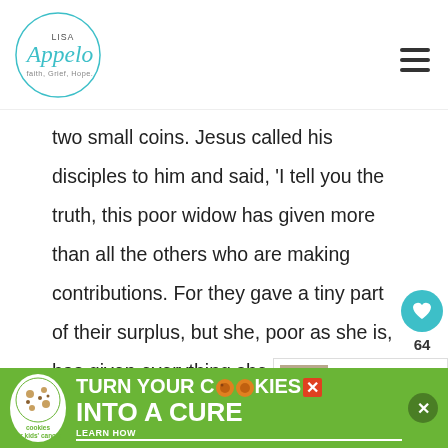Lisa Appelo - Faith, Grief, Hope.
two small coins. Jesus called his disciples to him and said, 'I tell you the truth, this poor widow has given more than all the others who are making contributions. For they gave a tiny part of their surplus, but she, poor as she is, has given everything she had to live on.' Mark 12:41-44
True justice must be given to foreigners among you and to orphans, and you must never
[Figure (screenshot): What's Next widget showing Best Christian Books on...]
[Figure (infographic): Cookies for Kids Cancer ad: turn your COOKIES into a CURE - LEARN HOW]